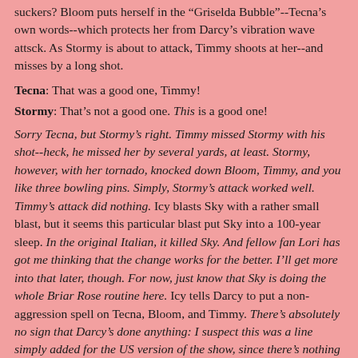suckers? Bloom puts herself in the "Griselda Bubble"--Tecna's own words--which protects her from Darcy's vibration wave attsck. As Stormy is about to attack, Timmy shoots at her--and misses by a long shot.
Tecna: That was a good one, Timmy!
Stormy: That's not a good one. This is a good one!
Sorry Tecna, but Stormy's right. Timmy missed Stormy with his shot--heck, he missed her by several yards, at least. Stormy, however, with her tornado, knocked down Bloom, Timmy, and you like three bowling pins. Simply, Stormy's attack worked well. Timmy's attack did nothing. Icy blasts Sky with a rather small blast, but it seems this particular blast put Sky into a 100-year sleep. In the original Italian, it killed Sky. And fellow fan Lori has got me thinking that the change works for the better. I'll get more into that later, though. For now, just know that Sky is doing the whole Briar Rose routine here. Icy tells Darcy to put a non-aggression spell on Tecna, Bloom, and Timmy. There's absolutely no sign that Darcy's done anything: I suspect this was a line simply added for the US version of the show, since there's nothing to suggest otherwise. Icy stands before the items, and goes into a great little monologue, even if not necessarily vital to the show's plot:
Icy: The crystal stands for magic, but these loser-wannabes have